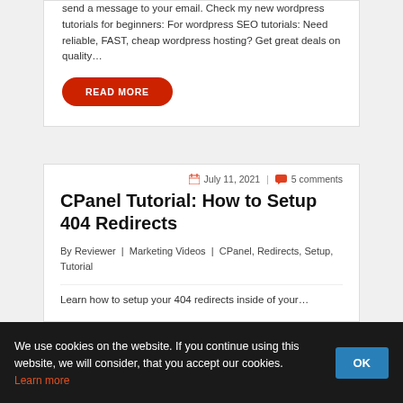send a message to your email. Check my new wordpress tutorials for beginners: For wordpress SEO tutorials: Need reliable, FAST, cheap wordpress hosting? Get great deals on quality…
READ MORE
July 11, 2021  |  5 comments
CPanel Tutorial: How to Setup 404 Redirects
By Reviewer  |  Marketing Videos  |  CPanel, Redirects, Setup, Tutorial
Learn how to setup your 404 redirects inside of your…
We use cookies on the website. If you continue using this website, we will consider, that you accept our cookies.
Learn more
OK